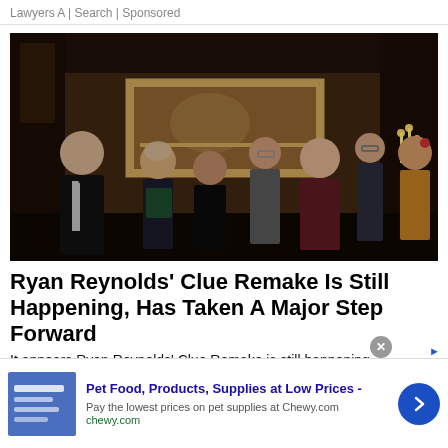Lawyers A | Search | Sponsored
[Figure (photo): Movie still from Clue (1985) showing cast members in formal attire standing in an ornate mansion interior with a large painting on the wall and candelabras]
Ryan Reynolds' Clue Remake Is Still Happening, Has Taken A Major Step Forward
It appears Ryan Reynolds' Clue Remake is still happening,
[Figure (infographic): Advertisement banner for Chewy.com pet supplies featuring logo thumbnail, bold title 'Pet Food, Products, Supplies at Low Prices -', description 'Pay the lowest prices on pet supplies at Chewy.com', URL 'chewy.com', close button X, and blue arrow navigation button]